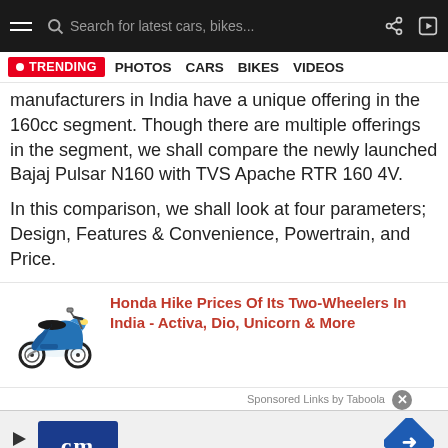Search for latest cars, bikes...
TRENDING  PHOTOS  CARS  BIKES  VIDEOS
manufacturers in India have a unique offering in the 160cc segment. Though there are multiple offerings in the segment, we shall compare the newly launched Bajaj Pulsar N160 with TVS Apache RTR 160 4V.
In this comparison, we shall look at four parameters; Design, Features & Convenience, Powertrain, and Price.
[Figure (photo): Blue Honda Activa scooter]
Honda Hike Prices Of Its Two-Wheelers In India - Activa, Dio, Unicorn & More
Sponsored Links by Taboola
[Figure (logo): cm logo advertisement with blue background]
[Figure (other): Blue diamond road sign with right arrow]